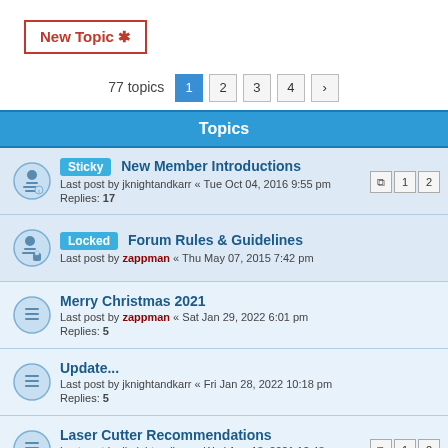New Topic *
77 topics  1  2  3  4  >
Topics
Sticky  New Member Introductions
Last post by jknightandkarr « Tue Oct 04, 2016 9:55 pm
Replies: 17  [pages: 1 2]
Locked  Forum Rules & Guidelines
Last post by zappman « Thu May 07, 2015 7:42 pm
Merry Christmas 2021
Last post by zappman « Sat Jan 29, 2022 6:01 pm
Replies: 5
Update...
Last post by jknightandkarr « Fri Jan 28, 2022 10:18 pm
Replies: 5
Laser Cutter Recommendations
Last post by jknightandkarr « Wed Aug 18, 2021 12:48 am
Replies: 11  [pages: 1 2]
Anyone heard from Chris?
Last post by jknightandkarr « Tue Jul 20, 2021 12:10 am
Replies: 83  [pages: 1 ... 6 7 8 9]
Lightning Hit
Last post by jknightandkarr « Tue Jul 13, 2021 11:17 pm
Replies: 7
PLC Programming (Ladder Logic)